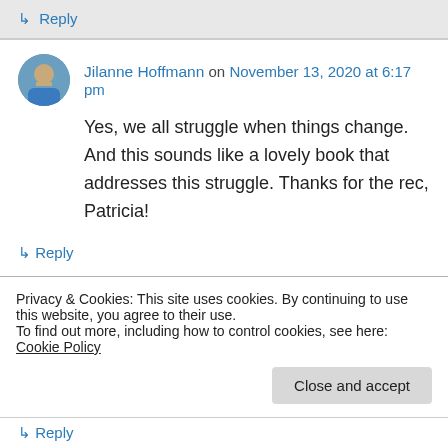↳ Reply
Jilanne Hoffmann on November 13, 2020 at 6:17 pm
Yes, we all struggle when things change. And this sounds like a lovely book that addresses this struggle. Thanks for the rec, Patricia!
↳ Reply
Maria Marshall on November 13, 2020 at 8:44 pm
Privacy & Cookies: This site uses cookies. By continuing to use this website, you agree to their use.
To find out more, including how to control cookies, see here: Cookie Policy
↳ Reply